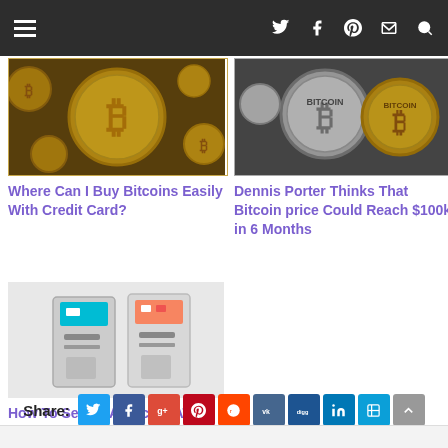Navigation bar with hamburger menu and icons
[Figure (photo): Stack of golden Bitcoin coins close-up]
Where Can I Buy Bitcoins Easily With Credit Card?
[Figure (photo): Silver and gold Bitcoin coins]
Dennis Porter Thinks That Bitcoin price Could Reach $100k in 6 Months
[Figure (photo): Two Bitcoin ATM machines side by side]
How To Set Up A Bitcoin ATM Operation in Your Country
Share: